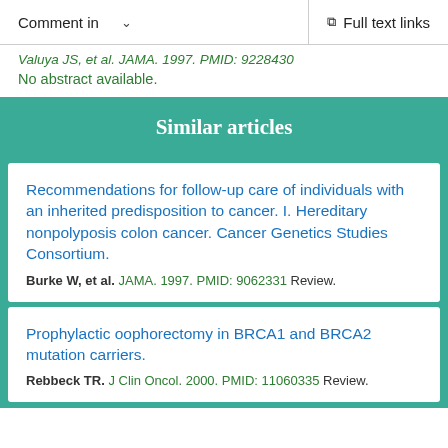Comment in   ∨   Full text links
Valuya JS, et al. JAMA. 1997. PMID: 9228430
No abstract available.
Similar articles
Recommendations for follow-up care of individuals with an inherited predisposition to cancer. I. Hereditary nonpolyposis colon cancer. Cancer Genetics Studies Consortium.
Burke W, et al. JAMA. 1997. PMID: 9062331 Review.
Prophylactic oophorectomy in BRCA1 and BRCA2 mutation carriers.
Rebbeck TR. J Clin Oncol. 2000. PMID: 11060335 Review.